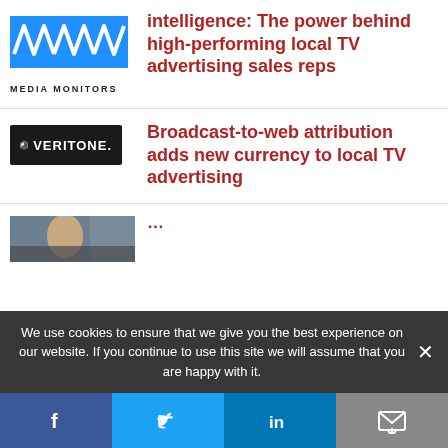[Figure (logo): Media Monitors logo with wave graphic and text 'MEDIA MONITORS']
intelligence: The power behind high-performing local TV advertising sales reps
[Figure (logo): Veritone logo on black background with V icon and text 'VERITONE.']
Broadcast-to-web attribution adds new currency to local TV advertising
[Figure (photo): Partial thumbnail image for third article]
Partial title text visible at bottom
We use cookies to ensure that we give you the best experience on our website. If you continue to use this site we will assume that you are happy with it.
Facebook | Twitter | LinkedIn | Email social share bar